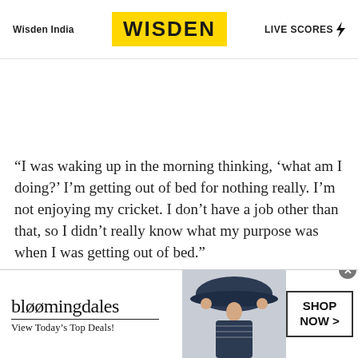Wisden India | WISDEN | LIVE SCORES
“I was waking up in the morning thinking, ‘what am I doing?’ I’m getting out of bed for nothing really. I’m not enjoying my cricket. I don’t have a job other than that, so I didn’t really know what my purpose was when I was getting out of bed.”
[Figure (infographic): Bloomingdale's advertisement banner with model wearing hat, 'View Today's Top Deals!' tagline, and 'SHOP NOW >' button]